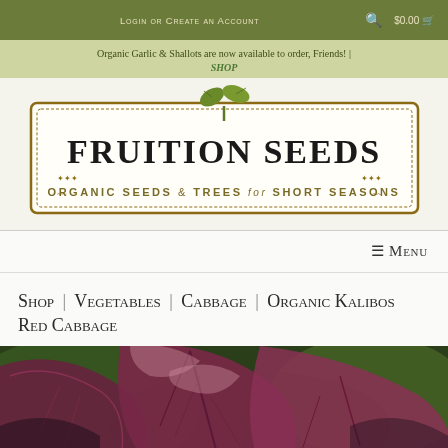Login or Create an Account   $0.00
Organic Garlic & Shallots are now available to order, Friends! | SHOP
[Figure (logo): Fruition Seeds logo — Organic Seeds & Trees for Short Seasons — with illustrated seedling graphic, ornate border]
≡ Menu
Shop | Vegetables | Cabbage | Organic Kalibos Red Cabbage
[Figure (photo): Close-up photo of deep purple-red Kalibos red cabbage leaves with green background]